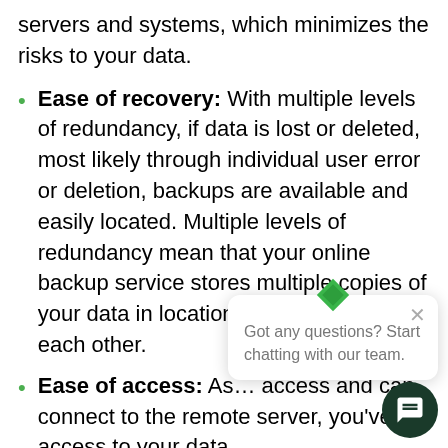servers and systems, which minimizes the risks to your data.
Ease of recovery: With multiple levels of redundancy, if data is lost or deleted, most likely through individual user error or deletion, backups are available and easily located. Multiple levels of redundancy mean that your online backup service stores multiple copies of your data in locations independent of each other.
Ease of access: As… access and can connect to the remote server, you've got access to your data.
Affordability: Cloud-based backup can be… expensive than the cost of tape drives, servers,